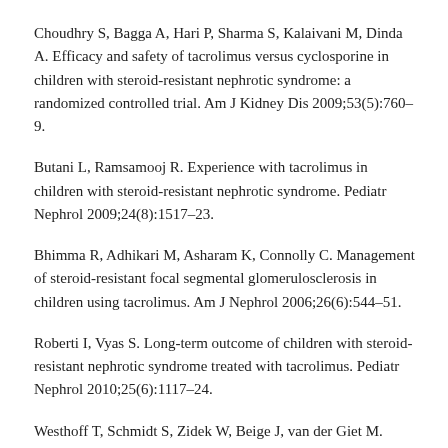Choudhry S, Bagga A, Hari P, Sharma S, Kalaivani M, Dinda A. Efficacy and safety of tacrolimus versus cyclosporine in children with steroid-resistant nephrotic syndrome: a randomized controlled trial. Am J Kidney Dis 2009;53(5):760–9.
Butani L, Ramsamooj R. Experience with tacrolimus in children with steroid-resistant nephrotic syndrome. Pediatr Nephrol 2009;24(8):1517–23.
Bhimma R, Adhikari M, Asharam K, Connolly C. Management of steroid-resistant focal segmental glomerulosclerosis in children using tacrolimus. Am J Nephrol 2006;26(6):544–51.
Roberti I, Vyas S. Long-term outcome of children with steroid-resistant nephrotic syndrome treated with tacrolimus. Pediatr Nephrol 2010;25(6):1117–24.
Westhoff T, Schmidt S, Zidek W, Beige J, van der Giet M. Tacrolimus in